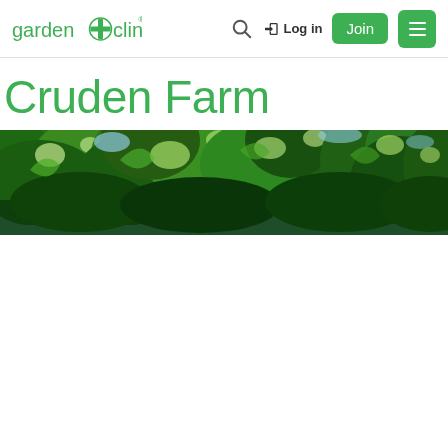garden+clinic® Log in Join [menu]
Cruden Farm
[Figure (photo): Wide panoramic banner photo showing green tree canopy viewed from below, with light filtering through leaves against a bright sky.]